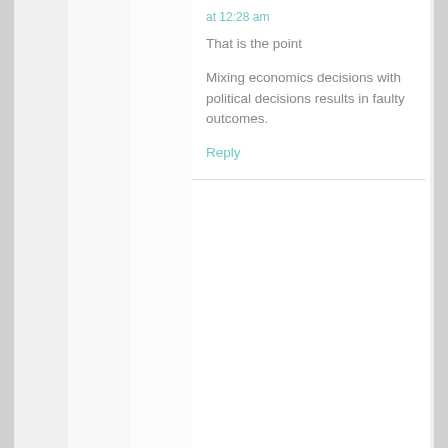at 12:28 am
That is the point
Mixing economics decisions with political decisions results in faulty outcomes.
Reply